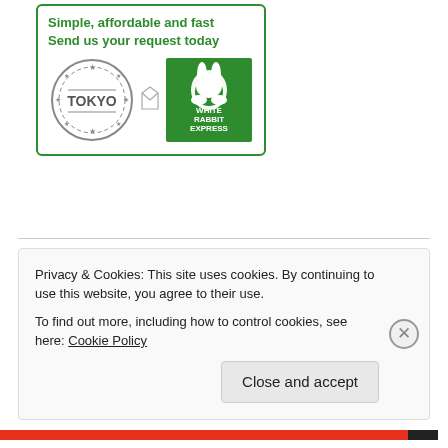[Figure (logo): White Rabbit Express advertisement box with green border. Text: 'Simple, affordable and fast / Send us your request today'. Shows a Tokyo circular stamp graphic on the left and White Rabbit Express postage stamp logo on the right (green background with white rabbit silhouette and text WHITE RABBIT EXPRESS).]
★RECOMMENDED ITEMS★
Ar Tonelico Visual Book
Atelier Series Official Chronicle (partial/truncated)
Privacy & Cookies: This site uses cookies. By continuing to use this website, you agree to their use.
To find out more, including how to control cookies, see here: Cookie Policy
Close and accept